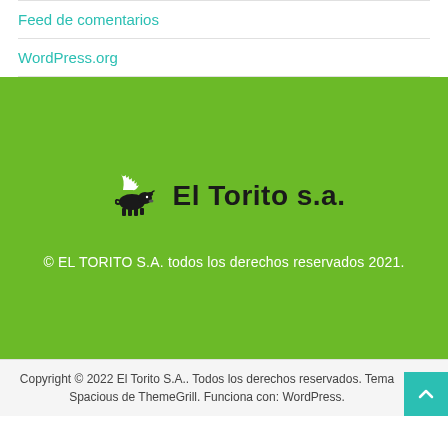Feed de comentarios
WordPress.org
[Figure (logo): El Torito s.a. logo with bull silhouette and flame/grass design]
© EL TORITO S.A. todos los derechos reservados 2021.
Copyright © 2022 El Torito S.A.. Todos los derechos reservados. Tema Spacious de ThemeGrill. Funciona con: WordPress.